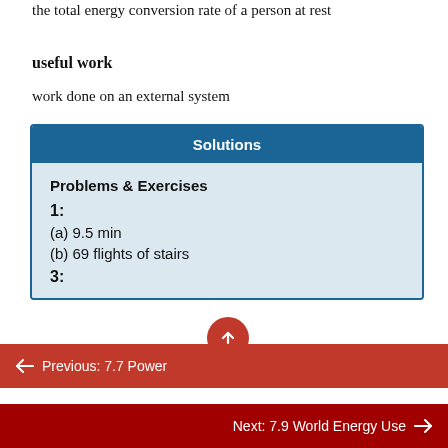the total energy conversion rate of a person at rest
useful work
work done on an external system
Solutions
Problems & Exercises
1:
(a) 9.5 min
(b) 69 flights of stairs
3:
← Previous: 7.7 Power
Next: 7.9 World Energy Use →